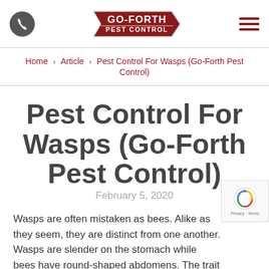[Figure (logo): Go-Forth Pest Control logo with red arrow shape and text, phone icon on left, hamburger menu on right]
Home › Article › Pest Control For Wasps (Go-Forth Pest Control)
Pest Control For Wasps (Go-Forth Pest Control)
February 5, 2020
Wasps are often mistaken as bees. Alike as they seem, they are distinct from one another. Wasps are slender on the stomach while bees have round-shaped abdomens. The trait that makes wasps far...